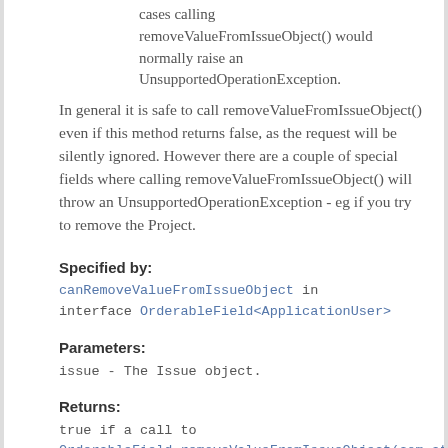cases calling removeValueFromIssueObject() would normally raise an UnsupportedOperationException.
In general it is safe to call removeValueFromIssueObject() even if this method returns false, as the request will be silently ignored. However there are a couple of special fields where calling removeValueFromIssueObject() will throw an UnsupportedOperationException - eg if you try to remove the Project.
Specified by:
canRemoveValueFromIssueObject in interface OrderableField<ApplicationUser>
Parameters:
issue - The Issue object.
Returns:
true if a call to OrderableField.removeValueFromIssueObject(com.at will actually remove the value.